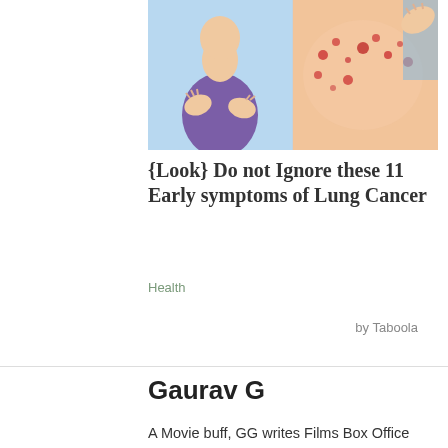[Figure (illustration): Split image showing a cartoon illustration of a person clutching their chest/abdomen on the left, and a photo of skin with red spots/rash on the right.]
{Look} Do not Ignore these 11 Early symptoms of Lung Cancer
Health
by Taboola
Gaurav G
A Movie buff, GG writes Films Box Office Collection and Others related to Bollywood, Hollywood And Others. Follow Me on Instagram
Social Links: